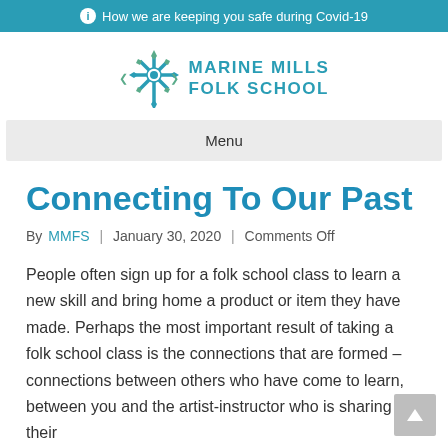ℹ How we are keeping you safe during Covid-19
[Figure (logo): Marine Mills Folk School logo with snowflake/star emblem and teal text]
Menu
Connecting To Our Past
By MMFS | January 30, 2020 | Comments Off
People often sign up for a folk school class to learn a new skill and bring home a product or item they have made. Perhaps the most important result of taking a folk school class is the connections that are formed – connections between others who have come to learn, between you and the artist-instructor who is sharing their